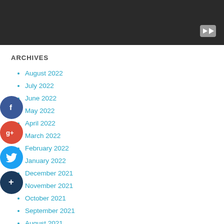[Figure (screenshot): Dark video player placeholder with a gray play button in the bottom right corner]
ARCHIVES
August 2022
July 2022
June 2022
May 2022
April 2022
March 2022
February 2022
January 2022
December 2021
November 2021
October 2021
September 2021
August 2021
July 2021
[Figure (infographic): Social media share buttons: Facebook (blue circle with f), Google+ (red circle with g+), Twitter (blue circle with bird), and a dark blue circle with plus sign]